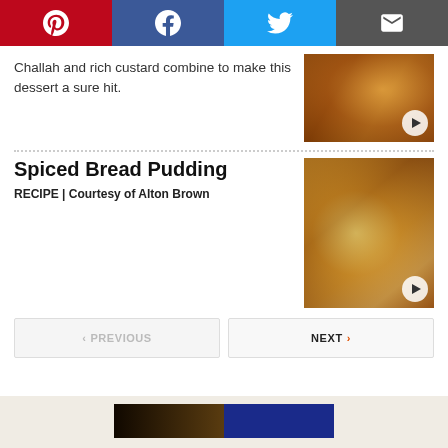[Figure (other): Social sharing bar with Pinterest, Facebook, Twitter, and Email buttons]
Challah and rich custard combine to make this dessert a sure hit.
[Figure (photo): Photo of bread pudding dish with play button overlay]
Spiced Bread Pudding
RECIPE | Courtesy of Alton Brown
[Figure (photo): Photo of spiced bread pudding with play button overlay]
[Figure (other): Previous and Next navigation buttons]
[Figure (other): Footer area with dark and blue thumbnail images]